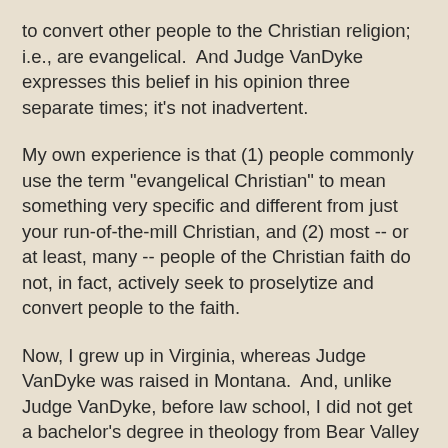to convert other people to the Christian religion; i.e., are evangelical.  And Judge VanDyke expresses this belief in his opinion three separate times; it's not inadvertent.
My own experience is that (1) people commonly use the term "evangelical Christian" to mean something very specific and different from just your run-of-the-mill Christian, and (2) most -- or at least, many -- people of the Christian faith do not, in fact, actively seek to proselytize and convert people to the faith.
Now, I grew up in Virginia, whereas Judge VanDyke was raised in Montana.  And, unlike Judge VanDyke, before law school, I did not get a bachelor's degree in theology from Bear Valley Bible Institute.  Given our different backgrounds and life experiences, it might not be radically surprising if the qualities of the (many, many) Christians I've encountered in my life -- including but not limited to my entire family and extended set of relatives -- are perhaps a little different in the extent of their proselytizing than those at, say, the Bear Valley Bible Institute, or in certain conservative circles more likely to be frequented by Judge VanDyke than by me.